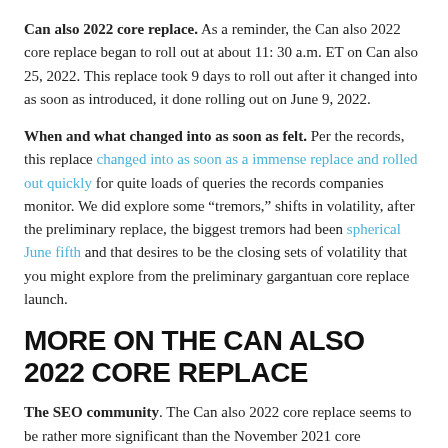Can also 2022 core replace. As a reminder, the Can also 2022 core replace began to roll out at about 11: 30 a.m. ET on Can also 25, 2022. This replace took 9 days to roll out after it changed into as soon as introduced, it done rolling out on June 9, 2022.
When and what changed into as soon as felt. Per the records, this replace changed into as soon as a immense replace and rolled out quickly for quite loads of queries the records companies monitor. We did explore some “tremors,” shifts in volatility, after the preliminary replace, the biggest tremors had been spherical June fifth and that desires to be the closing sets of volatility that you might explore from the preliminary gargantuan core replace launch.
MORE ON THE CAN ALSO 2022 CORE REPLACE
The SEO community. The Can also 2022 core replace seems to be rather more significant than the November 2021 core